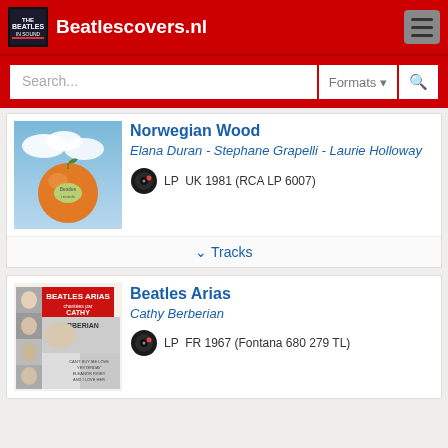Beatlescovers.nl
Search...
Norwegian Wood
Elana Duran - Stephane Grapelli - Laurie Holloway
LP  UK 1981 (RCA LP 6007)
✓ Tracks
Beatles Arias
Cathy Berberian
LP  FR 1967 (Fontana 680 279 TL)